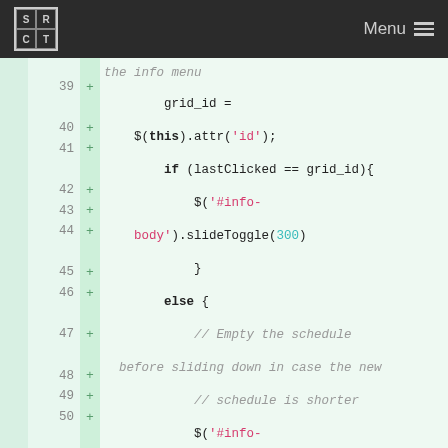SRCT Menu
[Figure (screenshot): Code diff screenshot showing JavaScript lines 39-50 with syntax highlighting on a light green background. Lines show jQuery code for handling grid click events, toggling info panel visibility.]